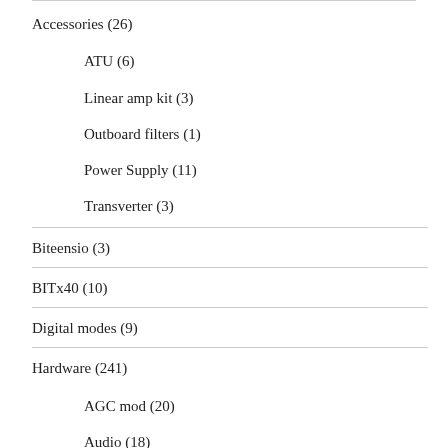Accessories (26)
ATU (6)
Linear amp kit (3)
Outboard filters (1)
Power Supply (11)
Transverter (3)
Biteensio (3)
BITx40 (10)
Digital modes (9)
Hardware (241)
AGC mod (20)
Audio (18)